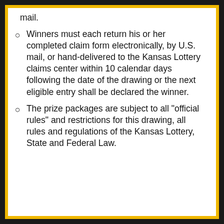mail.
Winners must each return his or her completed claim form electronically, by U.S. mail, or hand-delivered to the Kansas Lottery claims center within 10 calendar days following the date of the drawing or the next eligible entry shall be declared the winner.
The prize packages are subject to all "official rules" and restrictions for this drawing, all rules and regulations of the Kansas Lottery, State and Federal Law.